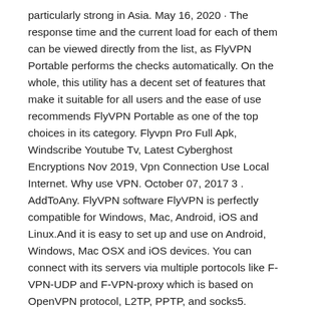particularly strong in Asia. May 16, 2020 · The response time and the current load for each of them can be viewed directly from the list, as FlyVPN Portable performs the checks automatically. On the whole, this utility has a decent set of features that make it suitable for all users and the ease of use recommends FlyVPN Portable as one of the top choices in its category. Flyvpn Pro Full Apk, Windscribe Youtube Tv, Latest Cyberghost Encryptions Nov 2019, Vpn Connection Use Local Internet. Why use VPN. October 07, 2017 3 . AddToAny. FlyVPN software FlyVPN is perfectly compatible for Windows, Mac, Android, iOS and Linux.And it is easy to set up and use on Android, Windows, Mac OSX and iOS devices. You can connect with its servers via multiple portocols like F-VPN-UDP and F-VPN-proxy which is based on OpenVPN protocol, L2TP, PPTP, and socks5.
BrowserCam offers FlyVPN (Free VPN, Pro VPN) for PC (computer) free download. Even